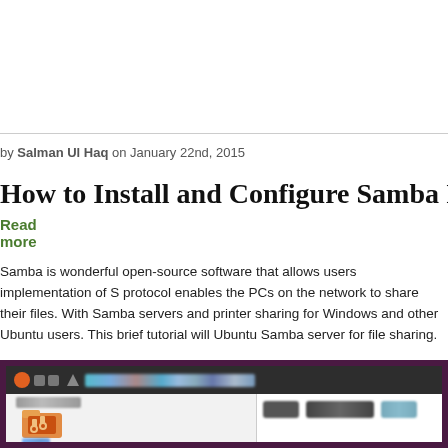Read more
by Salman Ul Haq on January 22nd, 2015
How to Install and Configure Samba In Ubuntu fo
Samba is wonderful open-source software that allows users implementation of S... protocol enables the PCs on the network to share their files. With Samba servers and printer sharing for Windows and other Ubuntu users. This brief tutorial will Ubuntu Samba server for file sharing.
[Figure (screenshot): Screenshot of Ubuntu desktop showing Samba file manager interface with dark taskbar, sidebar with folder icons, and main content area with navigation buttons]